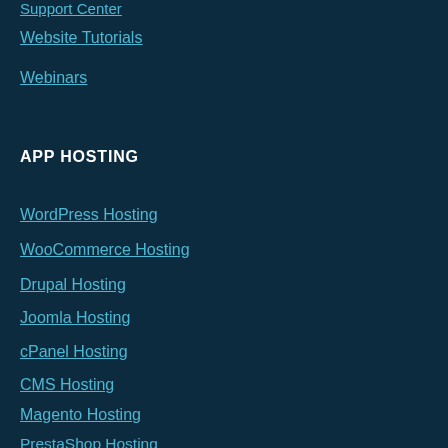Support Center
Website Tutorials
Webinars
APP HOSTING
WordPress Hosting
WooCommerce Hosting
Drupal Hosting
Joomla Hosting
cPanel Hosting
CMS Hosting
Magento Hosting
PrestaShop Hosting
OpenCart Hosting